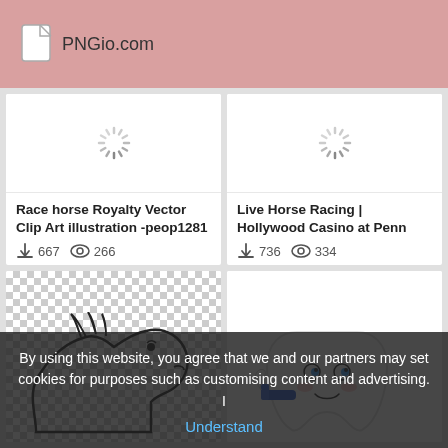PNGio.com
[Figure (screenshot): Loading spinner placeholder for Race horse Royalty Vector Clip Art illustration]
Race horse Royalty Vector Clip Art illustration -peop1281
667  266
[Figure (screenshot): Loading spinner placeholder for Live Horse Racing | Hollywood Casino at Penn]
Live Horse Racing | Hollywood Casino at Penn
736  334
[Figure (illustration): Horse cartoon clip art illustration with checkerboard background]
[Figure (illustration): Cartoon tooth character brushing teeth illustration]
By using this website, you agree that we and our partners may set cookies for purposes such as customising content and advertising.  I Understand